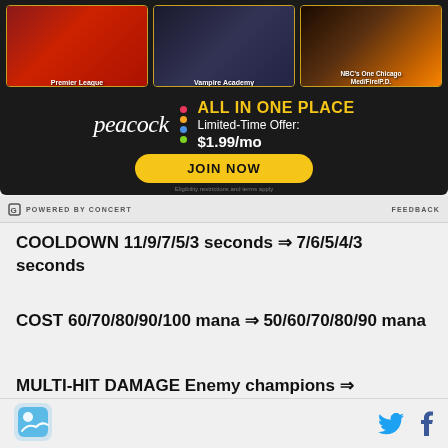[Figure (screenshot): Peacock streaming advertisement banner with three thumbnails (Premier League, Vampire Academy, NBC's One Chicago Med/Fire/P.D.), peacock logo, 'ALL IN ONE PLACE Limited-Time Offer: $1.99/mo' text, and a yellow 'JOIN NOW' button on dark background.]
POWERED BY CONCERT    FEEDBACK
COOLDOWN 11/9/7/5/3 seconds ⇒ 7/6/5/4/3 seconds
COST 60/70/80/90/100 mana ⇒ 50/60/70/80/90 mana
MULTI-HIT DAMAGE Enemy champions ⇒